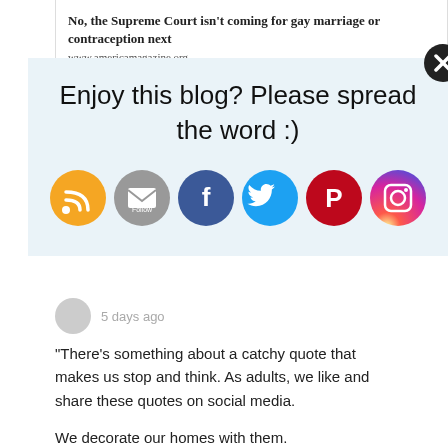No, the Supreme Court isn't coming for gay marriage or contraception next
www.americamagazine.org
Enjoy this blog? Please spread the word :)
[Figure (infographic): Social media sharing icons: RSS (orange), Email Follow (grey), Facebook (dark blue), Twitter (light blue), Pinterest (red), Instagram (purple/orange gradient)]
5 days ago
"There's something about a catchy quote that makes us stop and think. As adults, we like and share these quotes on social media.

We decorate our homes with them.

We might even write them in a journal.

Our attraction to these small bites of wisdom often